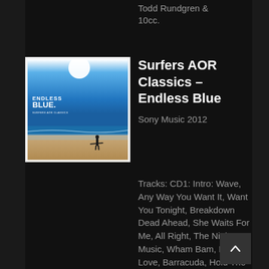Todd Rundgren & 10cc.
[Figure (photo): Album cover for 'Surfers AOR Classics - Endless Blue'. Shows a surfer walking on a beach under a bright blue sky, with text 'ENDLESS BLUE.' overlaid in the upper left.]
Surfers AOR Classics – Endless Blue
Sony Music 2012
Tracks: CD1: Intro: Wave, Any Way You Want It, Want You Tonight, Breakdown Dead Ahead, She Waits For Me, All Right, The Night Music, Wham Bam, Lotta Love, Barracuda, Hold The Line, The...